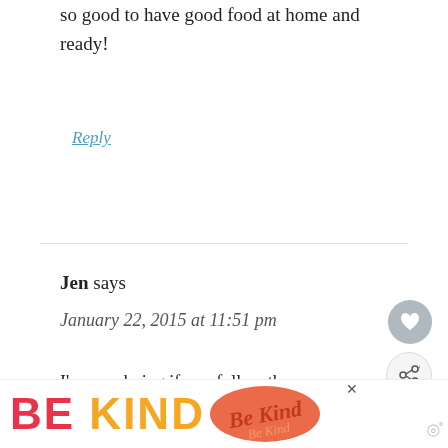so good to have good food at home and ready!
Reply
Jen says
January 22, 2015 at 11:51 pm
I'm wondering if you follow the recipes exactly as written? I had the same exact meals last week and the tacos and were SPICY! And I only used half the
[Figure (infographic): Ad banner at the bottom reading BE KIND with decorative red/orange script graphic, close button, and website logo]
[Figure (infographic): WHAT'S NEXT widget showing Blue Apron Has Wine!! with a photo of wine bottles]